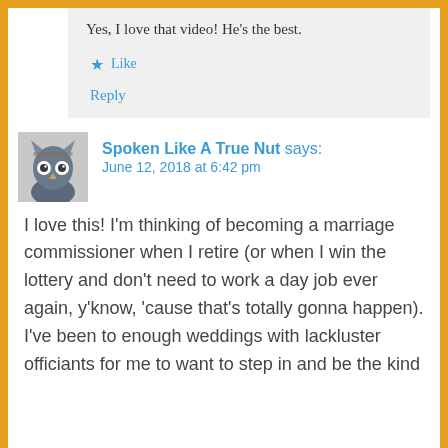Yes, I love that video! He’s the best.
★ Like
Reply
Spoken Like A True Nut says:
June 12, 2018 at 6:42 pm
I love this! I’m thinking of becoming a marriage commissioner when I retire (or when I win the lottery and don’t need to work a day job ever again, y’know, ‘cause that’s totally gonna happen). I’ve been to enough weddings with lackluster officiants for me to want to step in and be the kind